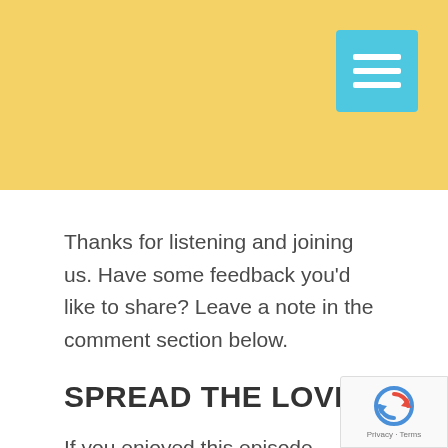[Figure (other): Yellow header bar with a cyan/teal hamburger menu icon button in the top right corner]
Thanks for listening and joining us. Have some feedback you'd like to share? Leave a note in the comment section below.
SPREAD THE LOVE
If you enjoyed this episode, please
[Figure (other): reCAPTCHA badge with logo and Privacy · Terms text]